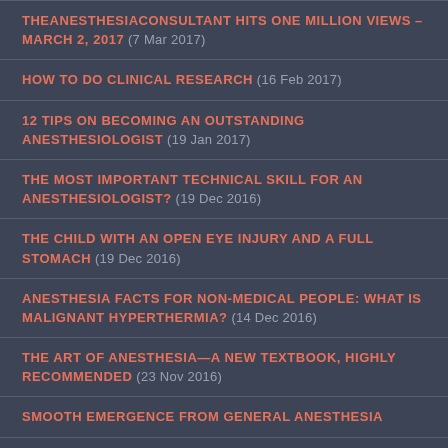THEANESTHESIACONSULTANT HITS ONE MILLION VIEWS – MARCH 2, 2017  (7 Mar 2017)
HOW TO DO CLINICAL RESEARCH  (16 Feb 2017)
12 TIPS ON BECOMING AN OUTSTANDING ANESTHESIOLOGIST  (19 Jan 2017)
THE MOST IMPORTANT TECHNICAL SKILL FOR AN ANESTHESIOLOGIST?  (19 Dec 2016)
THE CHILD WITH AN OPEN EYE INJURY AND A FULL STOMACH  (19 Dec 2016)
ANESTHESIA FACTS FOR NON-MEDICAL PEOPLE: WHAT IS MALIGNANT HYPERTHERMIA?  (14 Dec 2016)
THE ART OF ANESTHESIA—A NEW TEXTBOOK, HIGHLY RECOMMENDED  (23 Nov 2016)
SMOOTH EMERGENCE FROM GENERAL ANESTHESIA